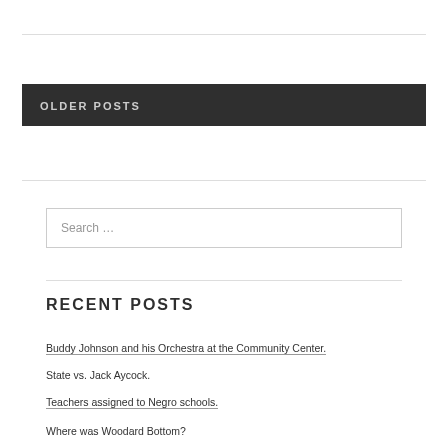OLDER POSTS
Search …
RECENT POSTS
Buddy Johnson and his Orchestra at the Community Center.
State vs. Jack Aycock.
Teachers assigned to Negro schools.
Where was Woodard Bottom?